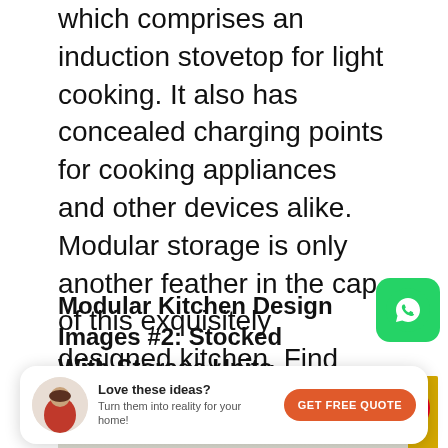which comprises an induction stovetop for light cooking. It also has concealed charging points for cooking appliances and other devices alike. Modular storage is only another feather in the cap of this exquisitely designed kitchen. Find more such elegant features here.
Modular Kitchen Design Images #2: Stocked With Storage Units
[Figure (photo): Interior photo of a modular kitchen showing white ceiling with recessed lighting, dark cabinets on left, yellow accent panel on right, and white storage units. A Pinterest share button is overlaid in the top right corner.]
Love these ideas? Turn them into reality for your home! GET FREE QUOTE